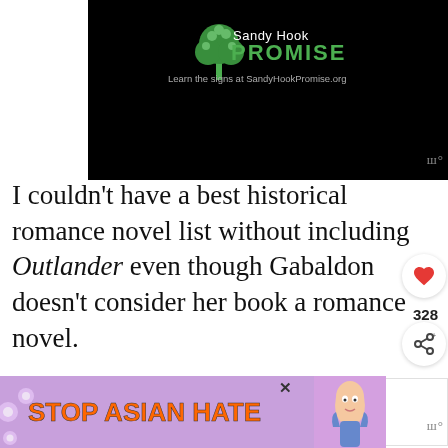[Figure (logo): Sandy Hook Promise advertisement on black background with green tree logo and text 'Learn the signs at SandyHookPromise.org']
I couldn't have a best historical romance novel list without including Outlander even though Gabaldon doesn't consider her book a romance novel.
That's OK because there is no denying that one of the best parts of this book (besides the the historical references and the time travel!) is the re... a sh...
[Figure (infographic): Stop Asian Hate advertisement banner with orange bold text on purple floral background, with anime character illustration]
[Figure (infographic): What's Next promo showing Romance Books book cover thumbnail with label 'The Best Enemies to...']